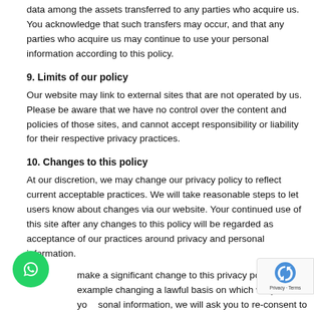data among the assets transferred to any parties who acquire us. You acknowledge that such transfers may occur, and that any parties who acquire us may continue to use your personal information according to this policy.
9. Limits of our policy
Our website may link to external sites that are not operated by us. Please be aware that we have no control over the content and policies of those sites, and cannot accept responsibility or liability for their respective privacy practices.
10. Changes to this policy
At our discretion, we may change our privacy policy to reflect current acceptable practices. We will take reasonable steps to let users know about changes via our website. Your continued use of this site after any changes to this policy will be regarded as acceptance of our practices around privacy and personal information.
make a significant change to this privacy policy, for example changing a lawful basis on which we process your personal information, we will ask you to re-consent to the amended privacy policy.
[Figure (logo): WhatsApp floating button (green circle with phone icon)]
[Figure (logo): Google reCAPTCHA badge with Privacy and Terms link]